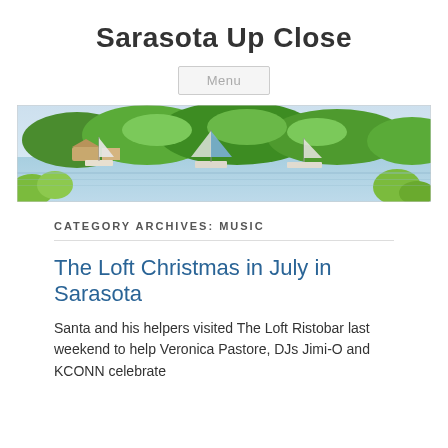Sarasota Up Close
[Figure (photo): Wide panoramic photo of a marina with sailboats on calm water, lush green trees and foliage in the background, and a waterfront area with structures visible.]
CATEGORY ARCHIVES: MUSIC
The Loft Christmas in July in Sarasota
Santa and his helpers visited The Loft Ristobar last weekend to help Veronica Pastore, DJs Jimi-O and KCONN celebrate